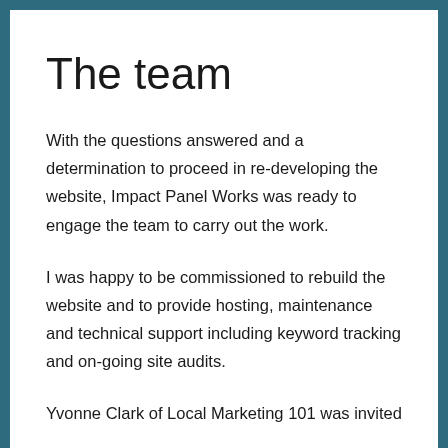The team
With the questions answered and a determination to proceed in re-developing the website, Impact Panel Works was ready to engage the team to carry out the work.
I was happy to be commissioned to rebuild the website and to provide hosting, maintenance and technical support including keyword tracking and on-going site audits.
Yvonne Clark of Local Marketing 101 was invited